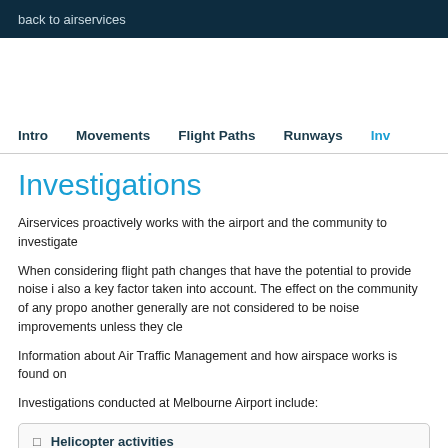back to airservices
Intro   Movements   Flight Paths   Runways   Inv
Investigations
Airservices proactively works with the airport and the community to investigate
When considering flight path changes that have the potential to provide noise i also a key factor taken into account. The effect on the community of any propo another generally are not considered to be noise improvements unless they cle
Information about Air Traffic Management and how airspace works is found on
Investigations conducted at Melbourne Airport include:
Helicopter activities